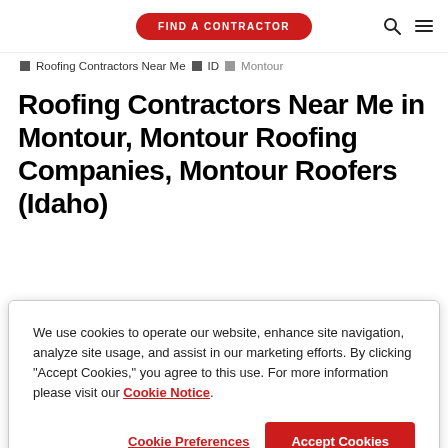FIND A CONTRACTOR
Roofing Contractors Near Me › ID › Montour
Roofing Contractors Near Me in Montour, Montour Roofing Companies, Montour Roofers (Idaho)
We use cookies to operate our website, enhance site navigation, analyze site usage, and assist in our marketing efforts. By clicking "Accept Cookies," you agree to this use. For more information please visit our Cookie Notice.
Cookie Preferences
Accept Cookies